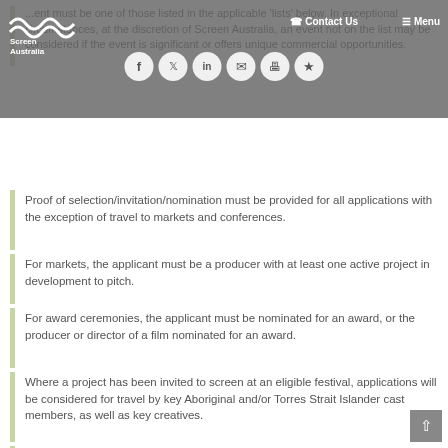Screen Australia navigation bar with logo, Contact Us, Menu, and social icons
...ent must be one of those listed in the applicable 'lists' below. In exceptional circumstances, at the discretion of Screen Australia, an event not on the list may be considered if the event is significant or offers unique commercial opportunities.
Proof of selection/invitation/nomination must be provided for all applications with the exception of travel to markets and conferences.
For markets, the applicant must be a producer with at least one active project in development to pitch.
For award ceremonies, the applicant must be nominated for an award, or the producer or director of a film nominated for an award.
Where a project has been invited to screen at an eligible festival, applications will be considered for travel by key Aboriginal and/or Torres Strait Islander cast members, as well as key creatives.
Practitioners may receive only one travel grant through this